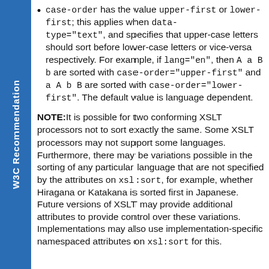case-order has the value upper-first or lower-first; this applies when data-type="text", and specifies that upper-case letters should sort before lower-case letters or vice-versa respectively. For example, if lang="en", then A a B b are sorted with case-order="upper-first" and a A b B are sorted with case-order="lower-first". The default value is language dependent.
NOTE: It is possible for two conforming XSLT processors not to sort exactly the same. Some XSLT processors may not support some languages. Furthermore, there may be variations possible in the sorting of any particular language that are not specified by the attributes on xsl:sort, for example, whether Hiragana or Katakana is sorted first in Japanese. Future versions of XSLT may provide additional attributes to provide control over these variations. Implementations may also use implementation-specific namespaced attributes on xsl:sort for this.